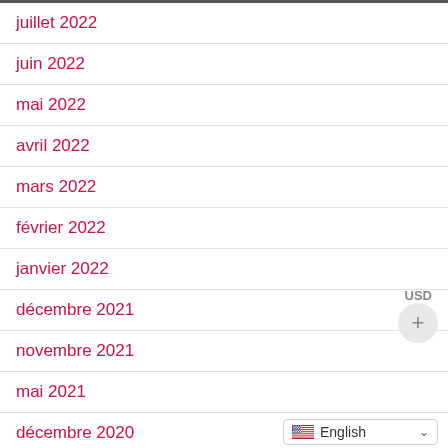juillet 2022
juin 2022
mai 2022
avril 2022
mars 2022
février 2022
janvier 2022
décembre 2021
novembre 2021
mai 2021
décembre 2020
novembre 2020